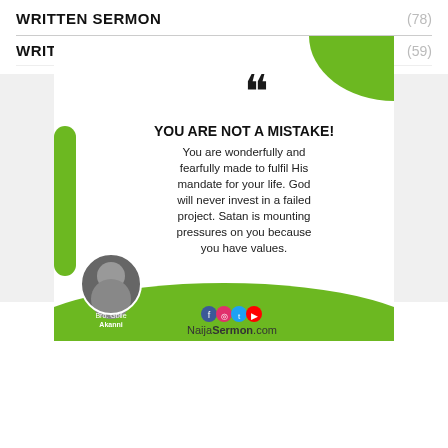WRITTEN SERMON (78)
WRITTENSERMON (59)
[Figure (infographic): Green and white motivational quote card with bold text: YOU ARE NOT A MISTAKE! You are wonderfully and fearfully made to fulfil His mandate for your life. God will never invest in a failed project. Satan is mounting pressures on you because you have values. Features a circular photo of Bro. Gbile Akanni at bottom left, social media icons and NaijaSermon.com branding at bottom center.]